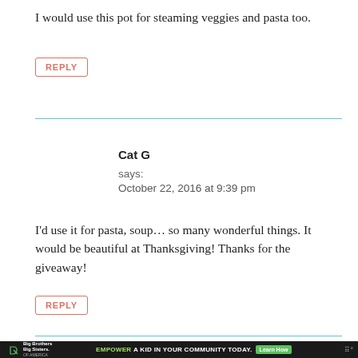I would use this pot for steaming veggies and pasta too.
REPLY
Cat G
says:
October 22, 2016 at 9:39 pm
I'd use it for pasta, soup… so many wonderful things. It would be beautiful at Thanksgiving! Thanks for the giveaway!
REPLY
[Figure (other): Advertisement banner: Big Brothers Big Sisters logo on left, green 'EMPOWER A KID IN YOUR COMMUNITY TODAY.' text with 'Learn How' button, dark background]